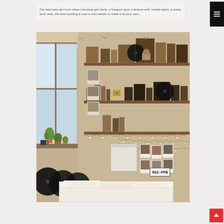The best teen girl room ideas including epic beds, a hangout spot, a feature wall, twinkle lights, a pretty desk area, the best bedding & how to add details to make it all your own.
[Figure (photo): A cozy teen girl bedroom with wooden shelves filled with books, records, cameras and decorative items, string/twinkle lights along the walls and shelves, polaroid photos pinned to the wall, white fluffy pillows on the bed, vinyl records leaning against the wall near the window, potted plants on the windowsill, and a license plate reading 052-PFB.]